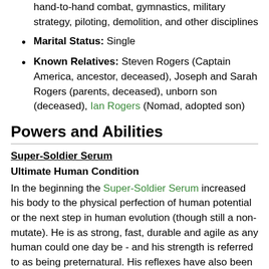hand-to-hand combat, gymnastics, military strategy, piloting, demolition, and other disciplines
Marital Status: Single
Known Relatives: Steven Rogers (Captain America, ancestor, deceased), Joseph and Sarah Rogers (parents, deceased), unborn son (deceased), Ian Rogers (Nomad, adopted son)
Powers and Abilities
Super-Soldier Serum
Ultimate Human Condition
In the beginning the Super-Soldier Serum increased his body to the physical perfection of human potential or the next step in human evolution (though still a non-mutate). He is as strong, fast, durable and agile as any human could one day be - and his strength is referred to as being preternatural. His reflexes have also been increased to